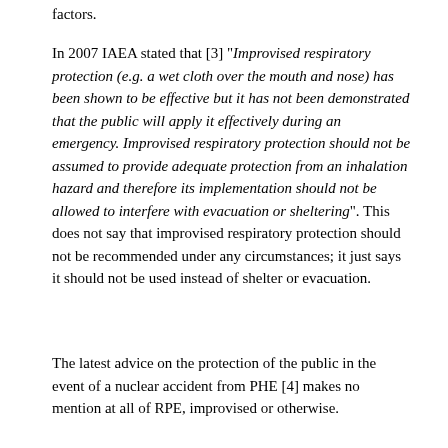factors.
In 2007 IAEA stated that [3] “Improvised respiratory protection (e.g. a wet cloth over the mouth and nose) has been shown to be effective but it has not been demonstrated that the public will apply it effectively during an emergency. Improvised respiratory protection should not be assumed to provide adequate protection from an inhalation hazard and therefore its implementation should not be allowed to interfere with evacuation or sheltering”. This does not say that improvised respiratory protection should not be recommended under any circumstances; it just says it should not be used instead of shelter or evacuation.
The latest advice on the protection of the public in the event of a nuclear accident from PHE [4] makes no mention at all of RPE, improvised or otherwise.